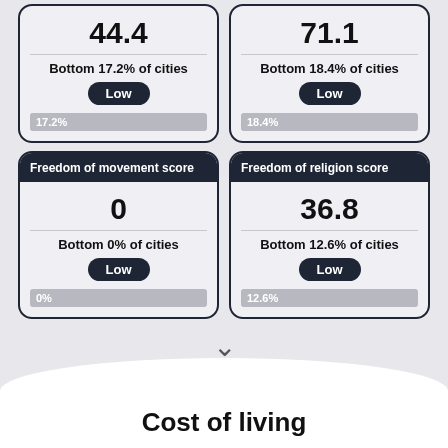[Figure (infographic): Score card showing 44.4, Bottom 17.2% of cities, Low badge, 17.2% progress bar]
[Figure (infographic): Score card showing 71.1, Bottom 18.4% of cities, Low badge, 18.4% progress bar]
[Figure (infographic): Freedom of movement score card: 0, Bottom 0% of cities, Low badge, 0% progress bar]
[Figure (infographic): Freedom of religion score card: 36.8, Bottom 12.6% of cities, Low badge, 12.6% progress bar]
Cost of living